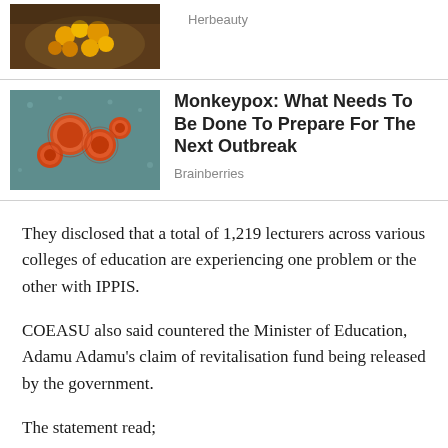[Figure (photo): Palm fruit/berries in a basket, top portion visible]
Herbeauty
[Figure (photo): Monkeypox virus cells under microscope, orange circles on teal background]
Monkeypox: What Needs To Be Done To Prepare For The Next Outbreak
Brainberries
They disclosed that a total of 1,219 lecturers across various colleges of education are experiencing one problem or the other with IPPIS.
COEASU also said countered the Minister of Education, Adamu Adamu's claim of revitalisation fund being released by the government.
The statement read;